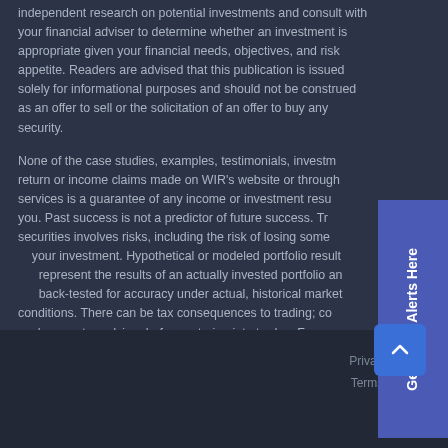independent research on potential investments and consult with your financial adviser to determine whether an investment is appropriate given your financial needs, objectives, and risk appetite. Readers are advised that this publication is issued solely for informational purposes and should not be construed as an offer to sell or the solicitation of an offer to buy any security.
None of the case studies, examples, testimonials, investment return or income claims made on WIR's website or through its services is a guarantee of any income or investment results for you. Past success is not a predictor of future success. Trading securities involves risks, including the risk of losing some or all of your investment. Hypothetical or modeled portfolio results do not represent the results of an actually invested portfolio and are not back-tested for accuracy under actual, historical market conditions. There can be tax consequences to trading; consult you're your tax adviser before entering into trades. For additional WIR disclosures and policies, please click the links below.
[Figure (other): Vertical sidebar button labeled 'Get Trade Alerts Here' in white text on blue/indigo background, rotated 90 degrees]
Privacy Policy
Terms Of Use
FAQ